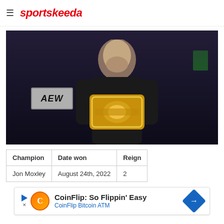sportskeeda
[Figure (photo): Jon Moxley holding the AEW championship belt in a wrestling arena with an AEW sign visible in the background and crowd behind him]
| Champion | Date won | Reign |
| --- | --- | --- |
| Jon Moxley | August 24th, 2022 | 2 |
[Figure (other): Advertisement banner for CoinFlip Bitcoin ATM with text 'CoinFlip: So Flippin' Easy' and 'CoinFlip Bitcoin ATM']